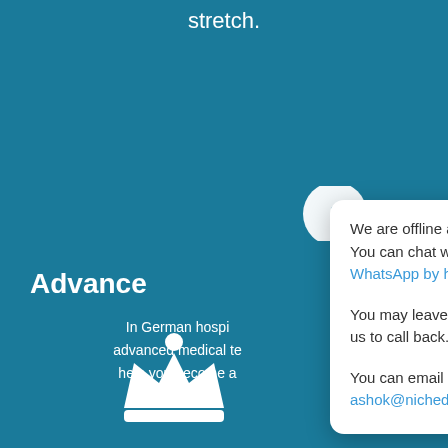stretch.
Advance
In German hospi... advanced medical te... help you become a...
[Figure (screenshot): Chat popup overlay showing offline message with WhatsApp link and email contact. Contains: 'We are offline at the moment. You can chat with us on WhatsApp by here', 'You may leave your number for us to call back.', 'You can email us directly on ashok@nicheducation.com.']
[Figure (illustration): White crown/queen chess piece icon at bottom center on teal background]
[Figure (illustration): Chat bubble button icon at bottom right]